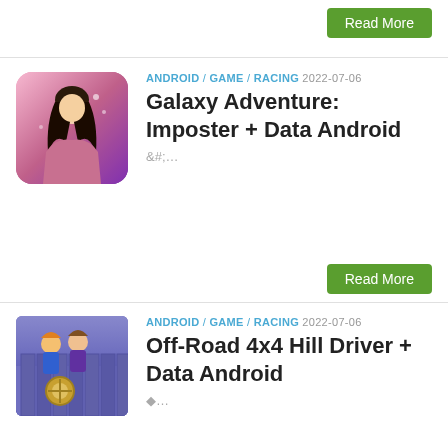[Figure (screenshot): Read More green button at top right]
[Figure (illustration): App icon for Galaxy Adventure: Imposter – anime-style female character with long dark hair on pink/purple background, rounded square icon]
ANDROID / GAME / RACING 2022-07-06
Galaxy Adventure: Imposter + Data Android
&#;...
[Figure (screenshot): Read More green button in middle right area]
[Figure (illustration): App icon for Off-Road 4x4 Hill Driver – cartoon characters on a blue/purple background]
ANDROID / GAME / RACING 2022-07-06
Off-Road 4x4 Hill Driver + Data Android
◆...